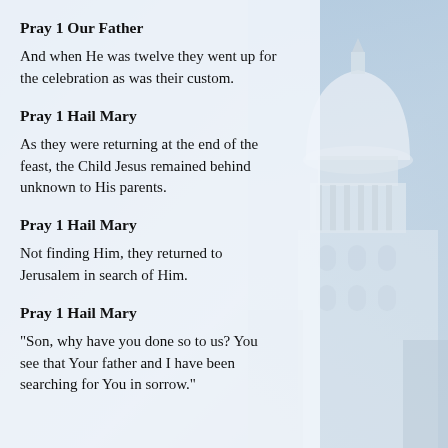Pray 1 Our Father
And when He was twelve they went up for the celebration as was their custom.
Pray 1 Hail Mary
As they were returning at the end of the feast, the Child Jesus remained behind unknown to His parents.
Pray 1 Hail Mary
Not finding Him, they returned to Jerusalem in search of Him.
Pray 1 Hail Mary
“Son, why have you done so to us? You see that Your father and I have been searching for You in sorrow.”